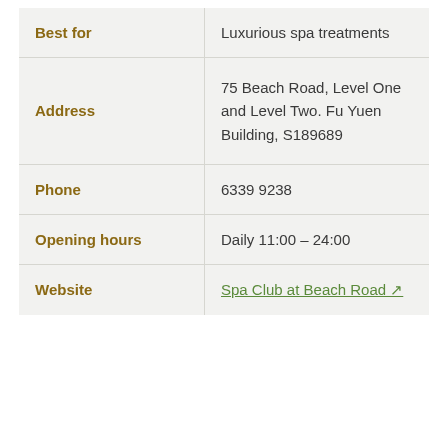| Field | Value |
| --- | --- |
| Best for | Luxurious spa treatments |
| Address | 75 Beach Road, Level One and Level Two. Fu Yuen Building, S189689 |
| Phone | 6339 9238 |
| Opening hours | Daily 11:00 – 24:00 |
| Website | Spa Club at Beach Road ↗ |